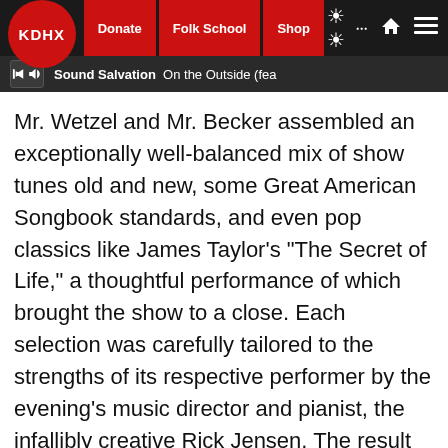KDHX | Donate | Folk School | Shop | Sound Salvation On the Outside (fea
Mr. Wetzel and Mr. Becker assembled an exceptionally well-balanced mix of show tunes old and new, some Great American Songbook standards, and even pop classics like James Taylor's "The Secret of Life," a thoughtful performance of which brought the show to a close. Each selection was carefully tailored to the strengths of its respective performer by the evening's music director and pianist, the infallibly creative Rick Jensen. The result was an example of what a well-turned-out cabaret evening should be.